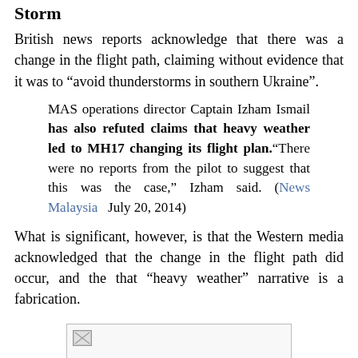Storm
British news reports acknowledge that there was a change in the flight path, claiming without evidence that it was to “avoid thunderstorms in southern Ukraine”.
MAS operations director Captain Izham Ismail has also refuted claims that heavy weather led to MH17 changing its flight plan.“There were no reports from the pilot to suggest that this was the case,” Izham said. (News Malaysia  July 20, 2014)
What is significant, however, is that the Western media acknowledged that the change in the flight path did occur, and the that “heavy weather” narrative is a fabrication.
[Figure (photo): A partially loaded image placeholder with a broken image icon in the top-left corner, shown inside a bordered rectangle.]